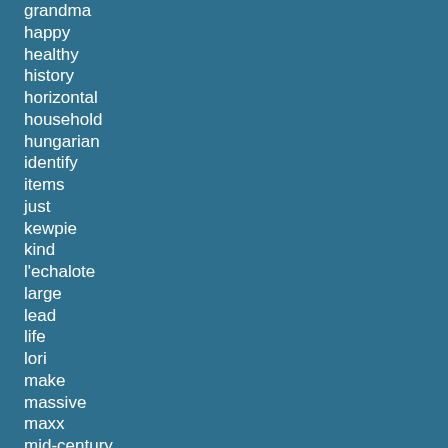grandma
happy
healthy
history
horizontal
household
hungarian
identify
items
just
kewpie
kind
l'echalote
large
lead
life
lori
make
massive
maxx
mid-century
more
much
mystery